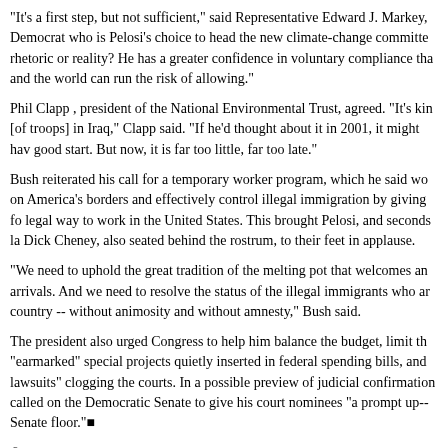"It's a first step, but not sufficient," said Representative Edward J. Markey, Democrat who is Pelosi's choice to head the new climate-change committee. rhetoric or reality? He has a greater confidence in voluntary compliance tha and the world can run the risk of allowing."
Phil Clapp , president of the National Environmental Trust, agreed. "It's kin [of troops] in Iraq," Clapp said. "If he'd thought about it in 2001, it might ha good start. But now, it is far too little, far too late."
Bush reiterated his call for a temporary worker program, which he said wo on America's borders and effectively control illegal immigration by giving fo legal way to work in the United States. This brought Pelosi, and seconds la Dick Cheney, also seated behind the rostrum, to their feet in applause.
"We need to uphold the great tradition of the melting pot that welcomes an arrivals. And we need to resolve the status of the illegal immigrants who ar country -- without animosity and without amnesty," Bush said.
The president also urged Congress to help him balance the budget, limit th "earmarked" special projects quietly inserted in federal spending bills, and lawsuits" clogging the courts. In a possible preview of judicial confirmation called on the Democratic Senate to give his court nominees "a prompt up- Senate floor."■
© Copyright 2007 Globe Newspaper Company.
◄ 1 2 3 ►
More:
Globe Nation stories |
Latest national news |